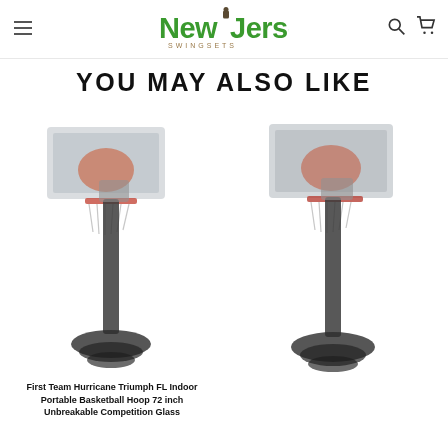New Jersey Swingsets
YOU MAY ALSO LIKE
[Figure (photo): First Team Hurricane Triumph FL Indoor Portable Basketball Hoop with 72-inch backboard]
First Team Hurricane Triumph FL Indoor Portable Basketball Hoop 72 inch Unbreakable Competition Glass
[Figure (photo): Second basketball hoop product photo, similar portable indoor hoop]